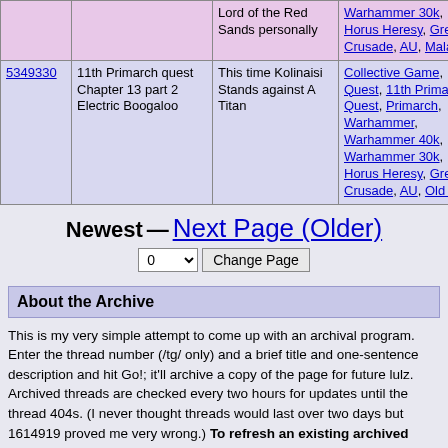| ID | Title | Description | Tags | Date |
| --- | --- | --- | --- | --- |
|  |  | Lord of the Red Sands personally | Warhammer 30k, Horus Heresy, Great Crusade, AU, Malal, |  |
| 5349330 | 11th Primarch quest Chapter 13 part 2 Electric Boogaloo | This time Kolinaisi Stands against A Titan | Collective Game, Quest, 11th Primarch Quest, Primarch, Warhammer, Warhammer 40k, Warhammer 30k, Horus Heresy, Great Crusade, AU, Old Man, | 2022-08-1 |
Newest — Next Page (Older)
About the Archive
This is my very simple attempt to come up with an archival program. Enter the thread number (/tg/ only) and a brief title and one-sentence description and hit Go!; it'll archive a copy of the page for future lulz. Archived threads are checked every two hours for updates until the thread 404s. (I never thought threads would last over two days but 1614919 proved me very wrong.) To refresh an existing archived thread, simply attempt to add